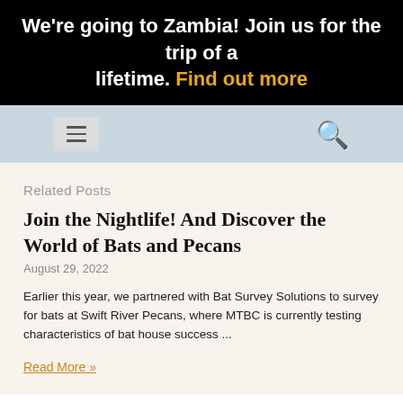We're going to Zambia! Join us for the trip of a lifetime. Find out more
Related Posts
Join the Nightlife! And Discover the World of Bats and Pecans
August 29, 2022
Earlier this year, we partnered with Bat Survey Solutions to survey for bats at Swift River Pecans, where MTBC is currently testing characteristics of bat house success ...
Read More »